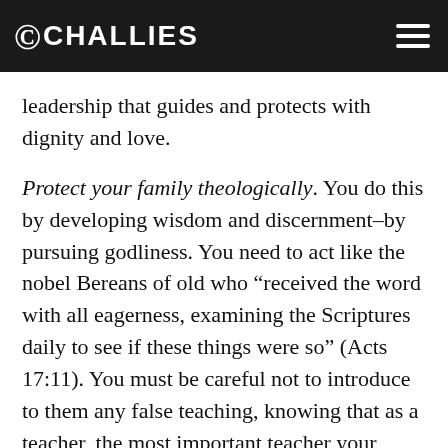CHALLIES
leadership that guides and protects with dignity and love.
Protect your family theologically. You do this by developing wisdom and discernment–by pursuing godliness. You need to act like the nobel Bereans of old who “received the word with all eagerness, examining the Scriptures daily to see if these things were so” (Acts 17:11). You must be careful not to introduce to them any false teaching, knowing that as a teacher, the most important teacher your family will have, you will be judged with a